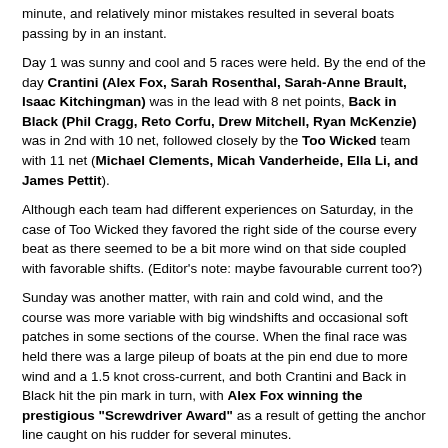minute, and relatively minor mistakes resulted in several boats passing by in an instant.
Day 1 was sunny and cool and 5 races were held. By the end of the day Crantini (Alex Fox, Sarah Rosenthal, Sarah-Anne Brault, Isaac Kitchingman) was in the lead with 8 net points, Back in Black (Phil Cragg, Reto Corfu, Drew Mitchell, Ryan McKenzie) was in 2nd with 10 net, followed closely by the Too Wicked team with 11 net (Michael Clements, Micah Vanderheide, Ella Li, and James Pettit).
Although each team had different experiences on Saturday, in the case of Too Wicked they favored the right side of the course every beat as there seemed to be a bit more wind on that side coupled with favorable shifts. (Editor's note: maybe favourable current too?)
Sunday was another matter, with rain and cold wind, and the course was more variable with big windshifts and occasional soft patches in some sections of the course. When the final race was held there was a large pileup of boats at the pin end due to more wind and a 1.5 knot cross-current, and both Crantini and Back in Black hit the pin mark in turn, with Alex Fox winning the prestigious "Screwdriver Award" as a result of getting the anchor line caught on his rudder for several minutes.
Too Wicked and Dingo were able to escape the melee and rocketed off